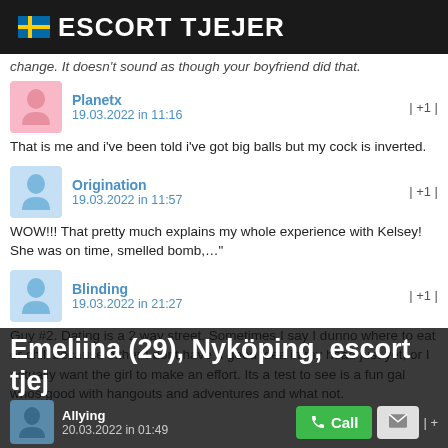ESCORT TJEJER
change. It doesn't sound as though your boyfriend did that.
Planetx
19.03.2022 in 11:16
| +1 |
That is me and i've been told i've got big balls but my cock is inverted.
Origination
19.03.2022 in 11:57
| +1 |
WOW!!! That pretty much explains my whole experience with Kelsey! She was on time, smelled bomb,…"
Blinding
19.03.2022 in 21:27
| +1 |
Guy #2. Dating is a 2 way street. Sometimes I say I dunno where to eat or chill because either I dont have a good idea in my head just yet, or I actually want the girl to make an effort. Its a test to see is a fun gal whos good with hangouts and adventures and what not.
Allying
20.03.2022 in 01:49
Emeliina (29), Nyköping, escort tjej